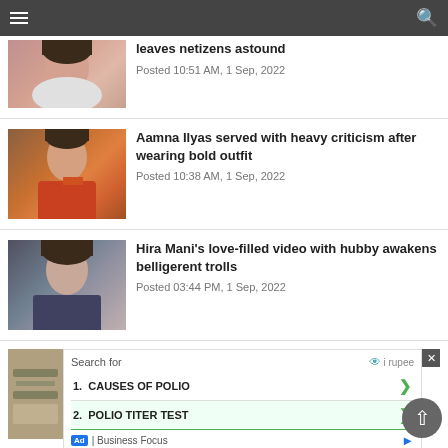Navigation bar with hamburger menu and search icon
[Figure (photo): Partial view of a woman's face with dark hair]
leaves netizens astound
Posted 10:51 AM, 1 Sep, 2022
[Figure (photo): Woman in red/orange outfit standing indoors]
Aamna Ilyas served with heavy criticism after wearing bold outfit
Posted 10:38 AM, 1 Sep, 2022
[Figure (photo): Woman with dark hair wearing dark top]
Hira Mani's love-filled video with hubby awakens belligerent trolls
Posted 03:44 PM, 1 Sep, 2022
Search for
1. CAUSES OF POLIO
2. POLIO TITER TEST
Ad | Business Focus
[Figure (photo): Ad banner showing currency/money image]